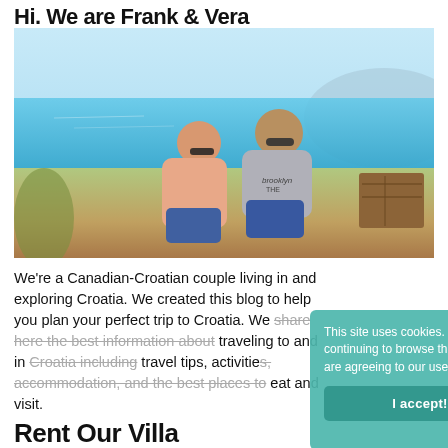Hi. We are Frank & Vera
[Figure (photo): Two people (a couple) sitting together on a beach with turquoise water and blue sky in the background. Wooden crates visible on the right. Both wearing sunglasses.]
We're a Canadian-Croatian couple living in and exploring Croatia. We created this blog to help you plan your perfect trip to Croatia. We share here the best information about traveling to and in Croatia including travel tips, activities, accommodation, and the best places to eat and visit.
This site uses cookies. By continuing to browse the site, you are agreeing to our use of cookies.
I accept!
Rent Our Villa